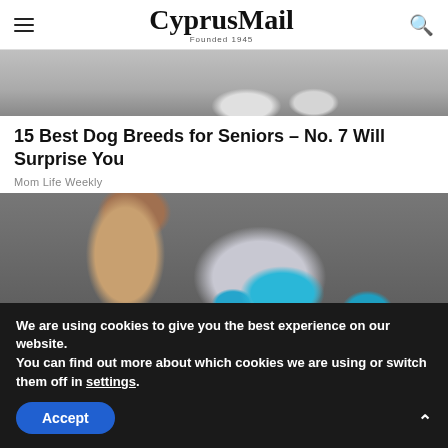CyprusMail Founded 1945
[Figure (photo): Close-up photo of a dog's paws on a surface, gray/white tones]
15 Best Dog Breeds for Seniors – No. 7 Will Surprise You
Mom Life Weekly
[Figure (photo): Close-up photo of a hand holding a blister pack of blue diamond-shaped pills (Viagra-type medication)]
We are using cookies to give you the best experience on our website.
You can find out more about which cookies we are using or switch them off in settings.
Accept